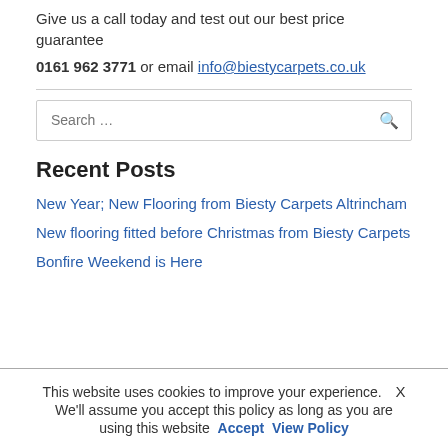Give us a call today and test out our best price guarantee
0161 962 3771 or email info@biestycarpets.co.uk
[Figure (other): Search input box with placeholder 'Search ...' and a search icon]
Recent Posts
New Year; New Flooring from Biesty Carpets Altrincham
New flooring fitted before Christmas from Biesty Carpets
Bonfire Weekend is Here
This website uses cookies to improve your experience.  X
We'll assume you accept this policy as long as you are using this website  Accept  View Policy